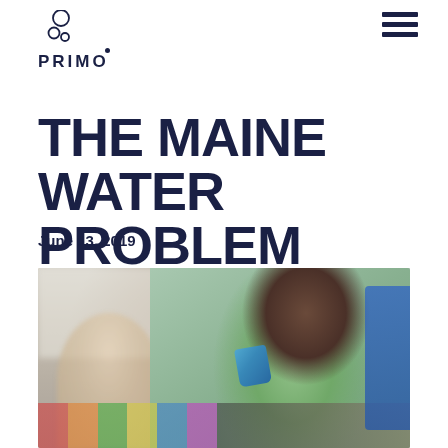PRIMO
THE MAINE WATER PROBLEM
June 13, 2019
[Figure (photo): A young Black child drinking from a blue cup in a classroom setting, with another child blurred in the background, and colorful cups on a table in the foreground.]